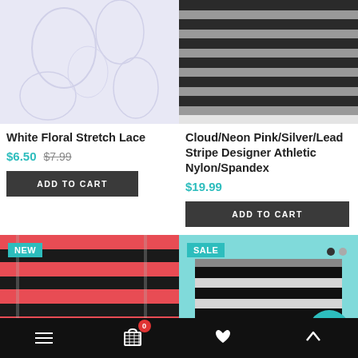[Figure (photo): White floral stretch lace fabric close-up]
[Figure (photo): Cloud/Neon Pink/Silver/Lead stripe fabric hanging on rod]
White Floral Stretch Lace
$6.50  $7.99
ADD TO CART
Cloud/Neon Pink/Silver/Lead Stripe Designer Athletic Nylon/Spandex
$19.99
ADD TO CART
[Figure (photo): Orange and black horizontal stripe curtain fabric, NEW badge]
[Figure (photo): Black and white striped curtain with teal background, SALE badge, dots and teal circle icon]